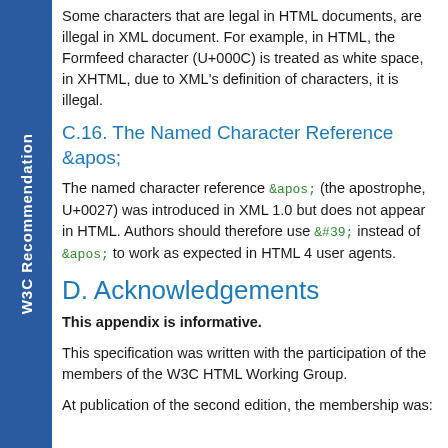W3C Recommendation
Some characters that are legal in HTML documents, are illegal in XML document. For example, in HTML, the Formfeed character (U+000C) is treated as white space, in XHTML, due to XML's definition of characters, it is illegal.
C.16. The Named Character Reference &apos;
The named character reference &apos; (the apostrophe, U+0027) was introduced in XML 1.0 but does not appear in HTML. Authors should therefore use &#39; instead of &apos; to work as expected in HTML 4 user agents.
D. Acknowledgements
This appendix is informative.
This specification was written with the participation of the members of the W3C HTML Working Group.
At publication of the second edition, the membership was: